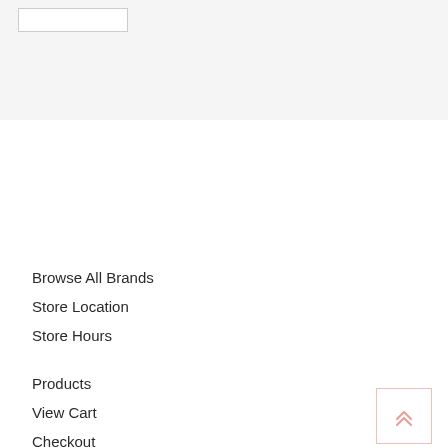[Figure (screenshot): Top gray bar section of a web page with a white button/box element in upper left]
Browse All Brands
Store Location
Store Hours
Products
View Cart
Checkout
[Figure (illustration): Back to top button with double chevron up arrow in salmon/pink color, outlined box in bottom right corner]